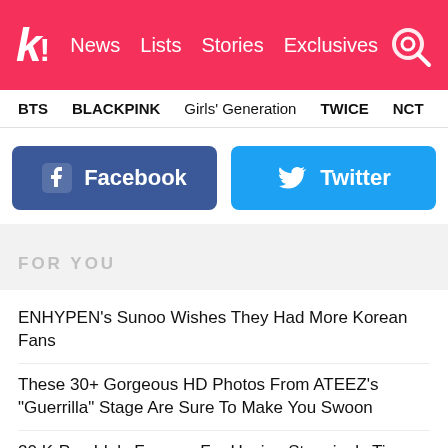k! News Lists Stories Exclusives
BTS BLACKPINK Girls' Generation TWICE NCT aespa
[Figure (other): Facebook social share button (blue, with Facebook logo icon and text 'Facebook')]
[Figure (other): Twitter social share button (light blue, with Twitter bird icon and text 'Twitter')]
FOR YOU
ENHYPEN's Sunoo Wishes They Had More Korean Fans
These 30+ Gorgeous HD Photos From ATEEZ's "Guerrilla" Stage Are Sure To Make You Swoon
20 K-Pop Idols Famous For Having Stunningly Tiny Faces
Lee Kwang Soo Being Listed As The Next Guest On "Running Man" Has Fans Buzzing